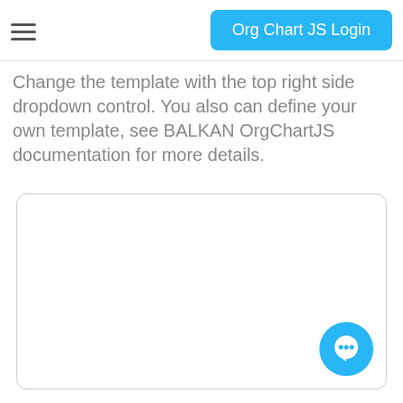Org Chart JS Login
Change the template with the top right side dropdown control. You also can define your own template, see BALKAN OrgChartJS documentation for more details.
[Figure (other): Empty white rounded rectangle representing an org chart display area with a chat bubble icon button in the bottom right corner]